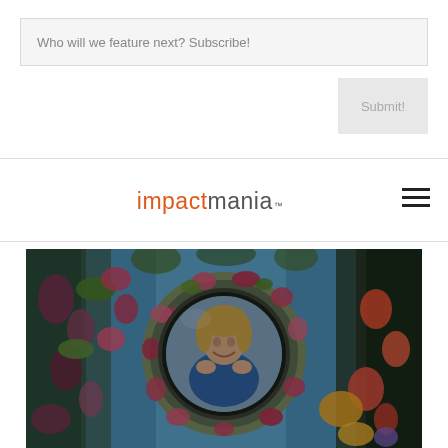Who will we feature next? Subscribe!
Submit!
[Figure (logo): impactmania logo with 'impact' in orange and 'mania' in gray, with trademark symbol]
[Figure (photo): Underwater photo of a smiling woman in a blue top seen through a circular porthole of a shipwreck covered in colorful coral and sea life]